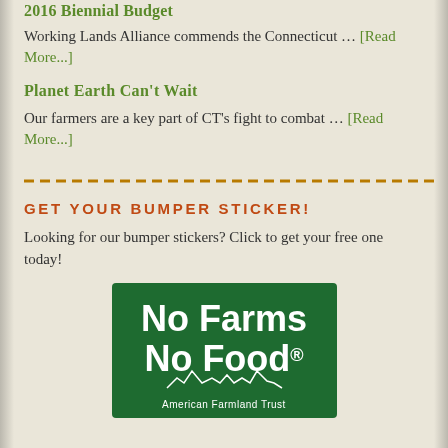2016 Biennial Budget
Working Lands Alliance commends the Connecticut … [Read More...]
Planet Earth Can't Wait
Our farmers are a key part of CT's fight to combat … [Read More...]
[Figure (other): Dashed orange/gold horizontal divider line]
GET YOUR BUMPER STICKER!
Looking for our bumper stickers? Click to get your free one today!
[Figure (logo): Green bumper sticker graphic with white text reading 'No Farms No Food' and 'American Farmland Trust' with farm silhouette]